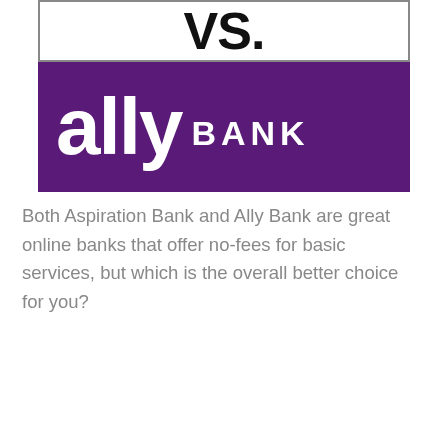[Figure (logo): Composite image: top portion shows 'vs.' text in large bold black font on white background with border; bottom portion shows Ally Bank logo — white text 'ally BANK' on purple background]
Both Aspiration Bank and Ally Bank are great online banks that offer no-fees for basic services, but which is the overall better choice for you?